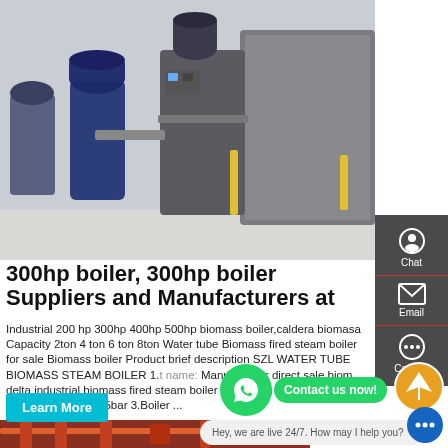[Figure (photo): Industrial boiler room with multiple large blue and grey steam boilers and associated piping equipment on a factory floor]
300hp boiler, 300hp boiler Suppliers and Manufacturers at
Industrial 200 hp 300hp 400hp 500hp biomass boiler,caldera biomasa Capacity 2ton 4 ton 6 ton 8ton Water tube Biomass fired steam boiler for sale Biomass boiler Product brief description SZL WATER TUBE BIOMASS STEAM BOILER 1. t name: Manufacturer direct sale biom... delta industrial biomass fired steam boiler 2.Working pressure :1.25-2.5Mpa,that is 10-25bar 3.Boiler ...
[Figure (screenshot): WhatsApp contact button with green circle icon and 'Contact us now!' green pill button]
[Figure (infographic): Sidebar with Chat, Email, and Contact options on dark grey background]
Learn More
Hey, we are live 24/7. How may I help you?
[Figure (photo): Bottom portion showing industrial boiler pipes and equipment in red/orange colors]